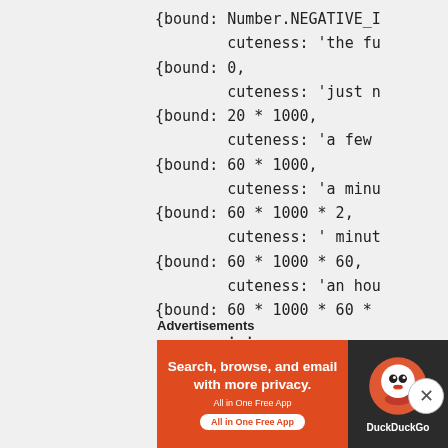{bound: Number.NEGATIVE_I
        cuteness: 'the fu
{bound: 0,
        cuteness: 'just n
{bound: 20 * 1000,
        cuteness: 'a few
{bound: 60 * 1000,
        cuteness: 'a minu
{bound: 60 * 1000 * 2,
        cuteness: ' minut
{bound: 60 * 1000 * 60,
        cuteness: 'an hou
{bound: 60 * 1000 * 60 *
        . .
Advertisements
[Figure (other): DuckDuckGo advertisement banner: orange background with text 'Search, browse, and email with more privacy. All in One Free App' and DuckDuckGo logo on dark background]